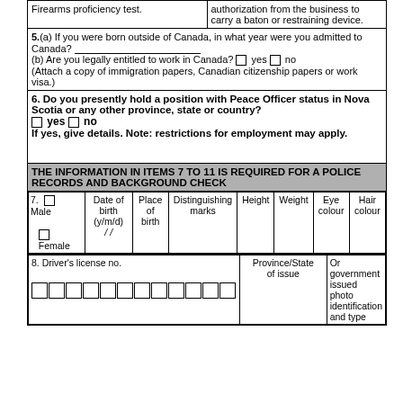Firearms proficiency test.
authorization from the business to carry a baton or restraining device.
5.(a) If you were born outside of Canada, in what year were you admitted to Canada? ___________________
(b) Are you legally entitled to work in Canada? □ yes □ no
(Attach a copy of immigration papers, Canadian citizenship papers or work visa.)
6. Do you presently hold a position with Peace Officer status in Nova Scotia or any other province, state or country?
□ yes □ no
If yes, give details. Note: restrictions for employment may apply.
THE INFORMATION IN ITEMS 7 TO 11 IS REQUIRED FOR A POLICE RECORDS AND BACKGROUND CHECK
| 7. Male/Female | Date of birth (y/m/d) | Place of birth | Distinguishing marks | Height | Weight | Eye colour | Hair colour |
| --- | --- | --- | --- | --- | --- | --- | --- |
|  |
| 8. Driver's license no. | Province/State of issue | Or government issued photo identification and type |
| --- | --- | --- |
|  |